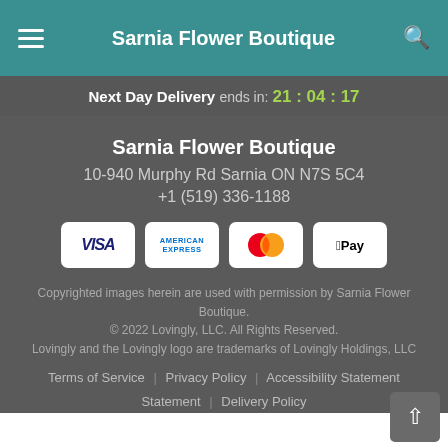Sarnia Flower Boutique
Next Day Delivery ends in: 21 : 04 : 17
Sarnia Flower Boutique
10-940 Murphy Rd Sarnia ON N7S 5C4
+1 (519) 336-1188
[Figure (logo): Payment method logos: VISA, American Express, Mastercard, Apple Pay]
Copyrighted images herein are used with permission by Sarnia Flower Boutique.
© 2022 Lovingly, LLC. All Rights Reserved.
Lovingly and the Lovingly logo are trademarks of Lovingly Holdings, LLC
Terms of Service | Privacy Policy | Accessibility Statement | Delivery Policy